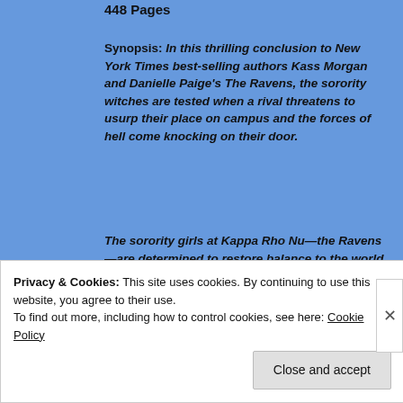448 Pages
Synopsis: In this thrilling conclusion to New York Times best-selling authors Kass Morgan and Danielle Paige's The Ravens, the sorority witches are tested when a rival threatens to usurp their place on campus and the forces of hell come knocking on their door.
The sorority girls at Kappa Rho Nu—the Ravens—are determined to restore balance to the world. After destroying an ancient talisman and barely saving their sorority in the process, they'll go to any lengths to keep their secret as Westerly's
Privacy & Cookies: This site uses cookies. By continuing to use this website, you agree to their use.
To find out more, including how to control cookies, see here: Cookie Policy
Close and accept